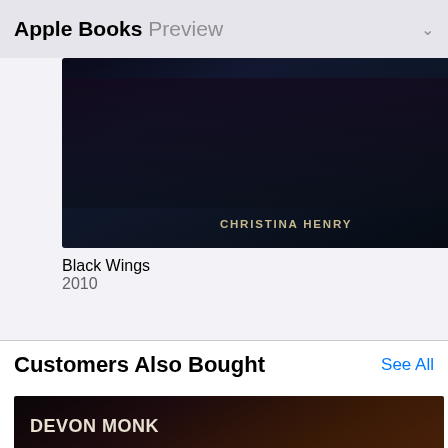Apple Books Preview
[Figure (photo): Book cover for 'Black Wings' by Christina Henry, dark blue/navy fantasy cover]
Black Wings
2010
[Figure (photo): Book cover for 'Black Night' by Christina Henry, dark blue fantasy cover with 'Author of Black Wings' subtitle]
Black Night
2011
[Figure (photo): Partially visible third book cover, dark theme]
Bla
201
Customers Also Bought
See All
[Figure (photo): Book cover for 'Magic to the Bone' by Devon Monk, dark fantasy cover with woman and fire, blurb reads 'Loved it, fiendishly original — New York Times Bestselling Author Patricia Briggs']
[Figure (photo): Partially visible grey/silver book cover]
[Figure (photo): Partially visible grey book cover on far right]